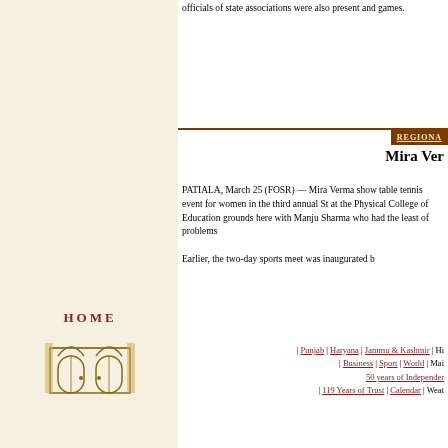officials of state associations were also present and games.
REGIONAL
Mira Ver
PATIALA, March 25 (FOSR) — Mira Verma show table tennis event for women in the third annual St at the Physical College of Education grounds here with Manju Sharma who had the least of problems
Earlier, the two-day sports meet was inaugurated b
[Figure (logo): HOME logo with illustrated building/gate icon in brown and gold tones]
| Punjab | Haryana | Jammu & Kashmir | Hi | Business | Sport | World | Mai 50 years of Independer | 119 Years of Trust | Calendar | Weat